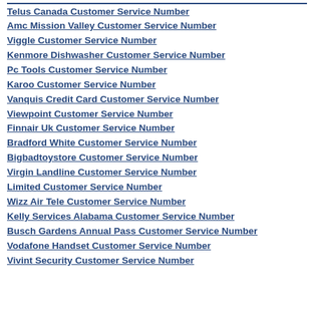Telus Canada Customer Service Number
Amc Mission Valley Customer Service Number
Viggle Customer Service Number
Kenmore Dishwasher Customer Service Number
Pc Tools Customer Service Number
Karoo Customer Service Number
Vanquis Credit Card Customer Service Number
Viewpoint Customer Service Number
Finnair Uk Customer Service Number
Bradford White Customer Service Number
Bigbadtoystore Customer Service Number
Virgin Landline Customer Service Number
Limited Customer Service Number
Wizz Air Tele Customer Service Number
Kelly Services Alabama Customer Service Number
Busch Gardens Annual Pass Customer Service Number
Vodafone Handset Customer Service Number
Vivint Security Customer Service Number